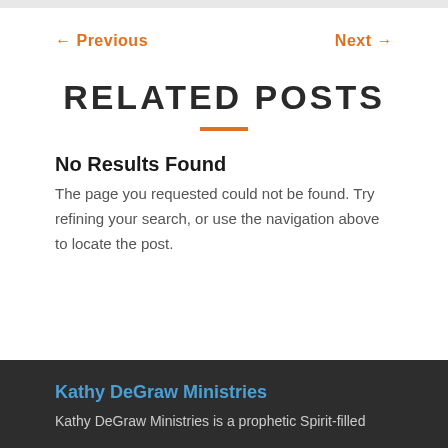← Previous    Next →
RELATED POSTS
No Results Found
The page you requested could not be found. Try refining your search, or use the navigation above to locate the post.
Kathy DeGraw Ministries
Kathy DeGraw Ministries is a prophetic Spirit-filled